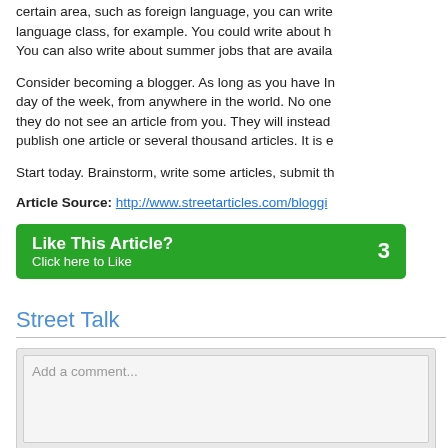certain area, such as foreign language, you can write about what you learned in your foreign language class, for example. You could write about how to prepare for the SAT language test. You can also write about summer jobs that are available for students.
Consider becoming a blogger. As long as you have Internet access, you can blog any day of the week, from anywhere in the world. No one will fire you or reprimand you if they do not see an article from you. They will instead miss your articles. You can publish one article or several thousand articles. It is entirely up to you.
Start today. Brainstorm, write some articles, submit them, and start blogging.
Article Source: http://www.streetarticles.com/blogging/...
[Figure (other): Green 'Like This Article?' button with count of 3]
Street Talk
[Figure (screenshot): Comment input box with placeholder 'Add a comment...' and a bottom bar area]